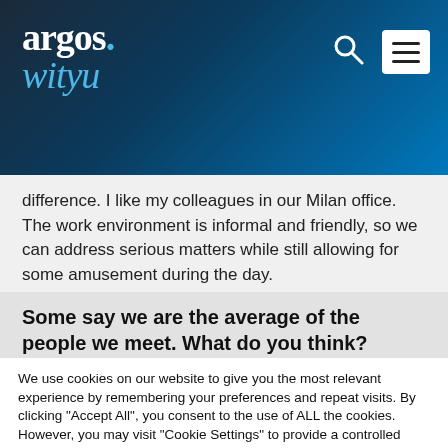argos.wityu
difference. I like my colleagues in our Milan office. The work environment is informal and friendly, so we can address serious matters while still allowing for some amusement during the day.
Some say we are the average of the people we meet. What do you think?
We use cookies on our website to give you the most relevant experience by remembering your preferences and repeat visits. By clicking "Accept All", you consent to the use of ALL the cookies. However, you may visit "Cookie Settings" to provide a controlled consent.